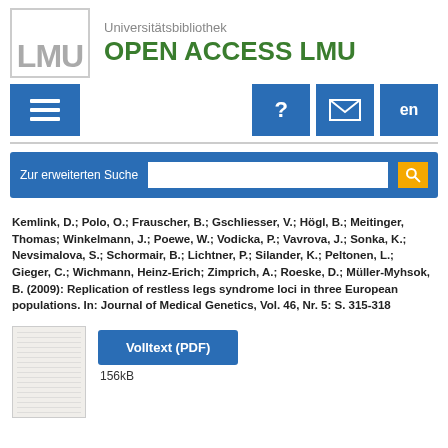[Figure (logo): LMU Universitätsbibliothek Open Access LMU logo with grey LMU letters in a bordered box and green bold text 'OPEN ACCESS LMU']
[Figure (screenshot): Navigation bar with blue hamburger menu button on left, and blue question mark, envelope, and 'en' buttons on the right]
[Figure (screenshot): Blue search bar with label 'Zur erweiterten Suche', white input field, and orange search icon button]
Kemlink, D.; Polo, O.; Frauscher, B.; Gschliesser, V.; Högl, B.; Meitinger, Thomas; Winkelmann, J.; Poewe, W.; Vodicka, P.; Vavrova, J.; Sonka, K.; Nevsimalova, S.; Schormair, B.; Lichtner, P.; Silander, K.; Peltonen, L.; Gieger, C.; Wichmann, Heinz-Erich; Zimprich, A.; Roeske, D.; Müller-Myhsok, B. (2009): Replication of restless legs syndrome loci in three European populations. In: Journal of Medical Genetics, Vol. 46, Nr. 5: S. 315-318
[Figure (thumbnail): Small thumbnail preview of a PDF document]
Volltext (PDF)
156kB